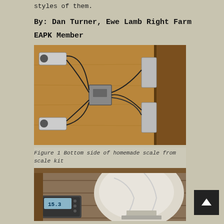styles of them.
By: Dan Turner, Ewe Lamb Right Farm
EAPK Member
[Figure (photo): Bottom side of a homemade scale showing load cells mounted at corners of a plywood board, with wires connecting to a central junction box.]
Figure 1 Bottom side of homemade scale from scale kit
[Figure (photo): Photo showing a digital scale display and a white bag on wooden planks.]